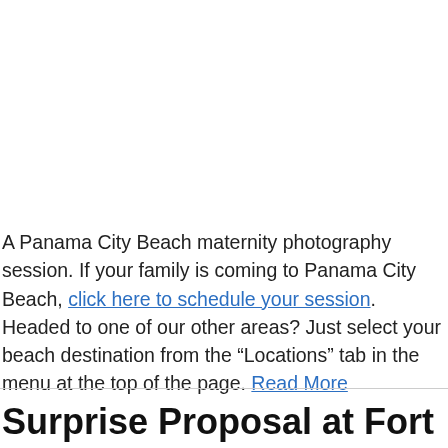A Panama City Beach maternity photography session.  If your family is coming to Panama City Beach, click here to schedule your session.  Headed to one of our other areas?  Just select your beach destination from the "Locations" tab in the menu at the top of the page. Read More
Surprise Proposal at Fort